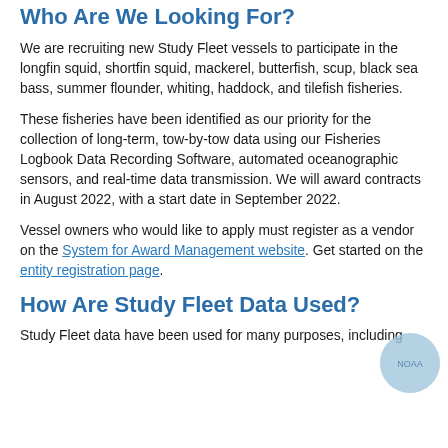Who Are We Looking For?
We are recruiting new Study Fleet vessels to participate in the longfin squid, shortfin squid, mackerel, butterfish, scup, black sea bass, summer flounder, whiting, haddock, and tilefish fisheries.
These fisheries have been identified as our priority for the collection of long-term, tow-by-tow data using our Fisheries Logbook Data Recording Software, automated oceanographic sensors, and real-time data transmission. We will award contracts in August 2022, with a start date in September 2022.
Vessel owners who would like to apply must register as a vendor on the System for Award Management website. Get started on the entity registration page.
How Are Study Fleet Data Used?
Study Fleet data have been used for many purposes, including